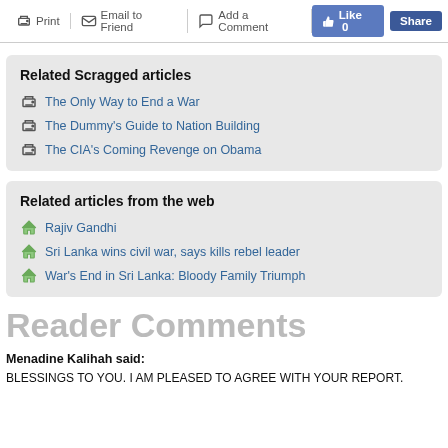Print | Email to Friend | Add a Comment | Like 0 | Share
Related Scragged articles
The Only Way to End a War
The Dummy's Guide to Nation Building
The CIA's Coming Revenge on Obama
Related articles from the web
Rajiv Gandhi
Sri Lanka wins civil war, says kills rebel leader
War's End in Sri Lanka: Bloody Family Triumph
Reader Comments
Menadine Kalihah said:
BLESSINGS TO YOU. I AM PLEASED TO AGREE WITH YOUR REPORT.